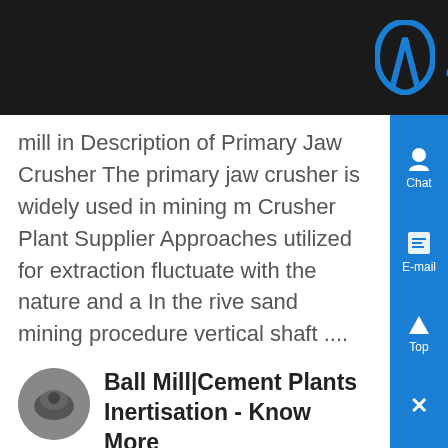[Figure (logo): Zenit company logo with stylized 'A' icon and blue ZENIT text on dark background]
mill in Description of Primary Jaw Crusher The primary jaw crusher is widely used in mining m Crusher Plant Supplier Approaches utilized for extraction fluctuate with the nature and a In the rive sand mining procedure vertical shaft ....
[Figure (photo): Small circular thumbnail photo of industrial mill equipment]
Ball Mill|Cement Plants Inertisation - Know More
Coal Mill Inertisation In Cement Plants, Coal mill cement plant coal mill inertisation in cement plants mill design features and benefits by dr caroline geb pfeiffer se grinding and drying coal for use in ceme plants power years the mps mills for power read mo function of coal Cement Plants Inertisation...